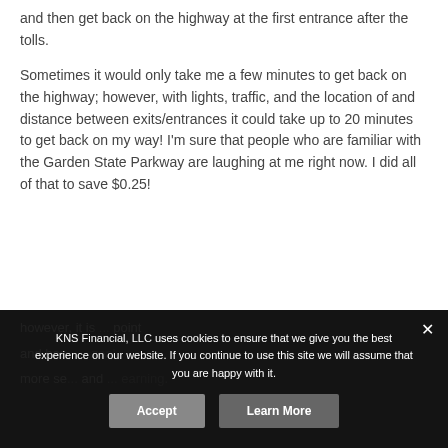and then get back on the highway at the first entrance after the tolls.
Sometimes it would only take me a few minutes to get back on the highway; however, with lights, traffic, and the location of and distance between exits/entrances it could take up to 20 minutes to get back on my way! I'm sure that people who are familiar with the Garden State Parkway are laughing at me right now. I did all of that to save $0.25!
KNS Financial, LLC uses cookies to ensure that we give you the best experience on our website. If you continue to use this site we will assume that you are happy with it.
however, it is time to stop trying to ...